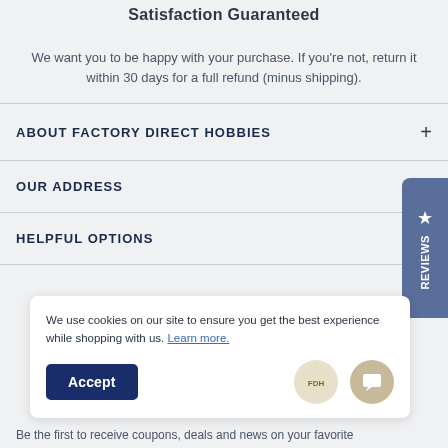Satisfaction Guaranteed
We want you to be happy with your purchase. If you're not, return it within 30 days for a full refund (minus shipping).
ABOUT FACTORY DIRECT HOBBIES
OUR ADDRESS
HELPFUL OPTIONS
[Figure (other): Reviews sidebar button with star icon and vertical 'Reviews' text on blue-grey background]
We use cookies on our site to ensure you get the best experience while shopping with us. Learn more.
Be the first to receive coupons, deals and news on your favorite